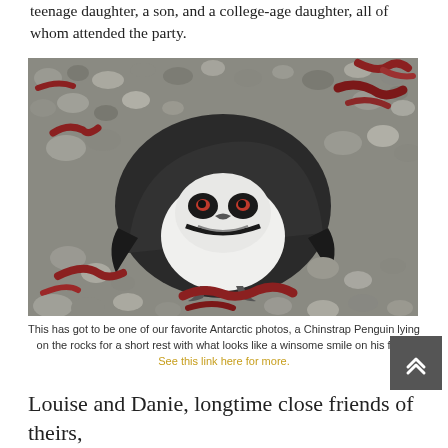teenage daughter, a son, and a college-age daughter, all of whom attended the party.
[Figure (photo): A Chinstrap Penguin lying on its back on a rocky beach covered with pebbles and red seaweed, looking upward with what appears to be a smile.]
This has got to be one of our favorite Antarctic photos, a Chinstrap Penguin lying on the rocks for a short rest with what looks like a winsome smile on his face. See this link here for more.
Louise and Danie, longtime close friends of theirs,